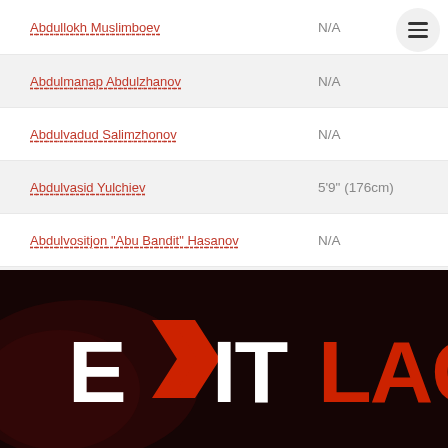| Fighter | Height |
| --- | --- |
| Abdullokh Muslimboev | N/A |
| Abdulmanap Abdulzhanov | N/A |
| Abdulvadud Salimzhonov | N/A |
| Abdulvasid Yulchiev | 5'9" (176cm) |
| Abdulvositjon "Abu Bandit" Hasanov | N/A |
| Abdumalik Yorbutaev | N/A |
| Abdumalik Erbutaev | 5'8" (173cm) |
| Abdumalik Khozhimatov | 5'5" (165cm) |
[Figure (logo): ExitLag logo — stylized text with white 'EXIT' and red 'LAG', red arrow chevrons replacing the 'X', on a dark red/black textured background]